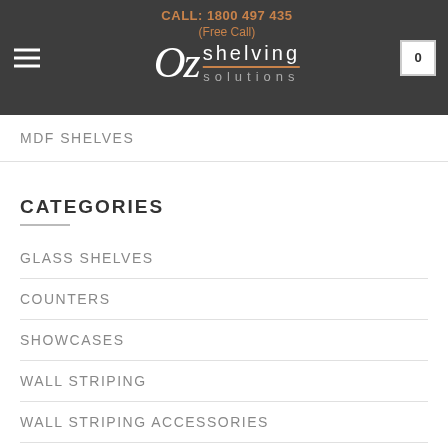[Figure (screenshot): OZ Shelving Solutions website header with logo, phone number, hamburger menu, and cart icon]
MDF SHELVES
CATEGORIES
GLASS SHELVES
COUNTERS
SHOWCASES
WALL STRIPING
WALL STRIPING ACCESSORIES